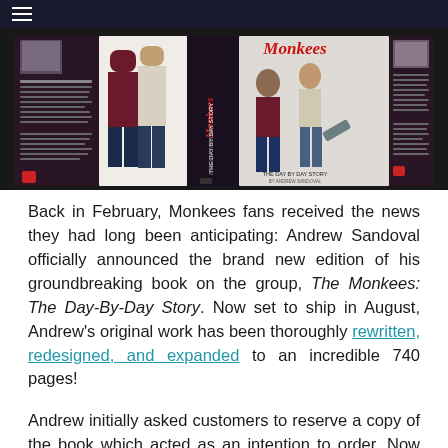[Figure (photo): Composite image of The Monkees book cover — showing the front cover, spine, and back cover of 'The Monkees: The Day-By-Day Story' by Andrew Sandoval, against a dark background. The cover features photos of the four Monkees members.]
Back in February, Monkees fans received the news they had long been anticipating: Andrew Sandoval officially announced the brand new edition of his groundbreaking book on the group, The Monkees: The Day-By-Day Story. Now set to ship in August, Andrew's original work has been thoroughly rewritten, redesigned, and expanded to an incredible 740 pages!
Andrew initially asked customers to reserve a copy of the book which acted as an intention to order. Now the time has come to formally pre-order and provide payment